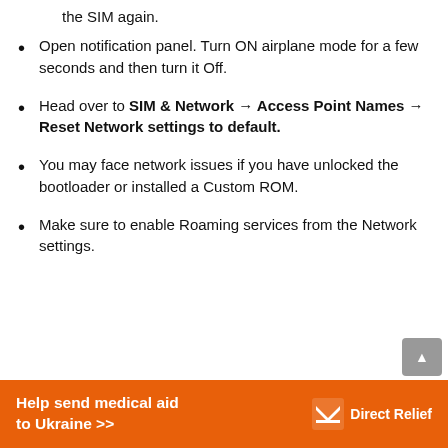the SIM again.
Open notification panel. Turn ON airplane mode for a few seconds and then turn it Off.
Head over to SIM & Network → Access Point Names → Reset Network settings to default.
You may face network issues if you have unlocked the bootloader or installed a Custom ROM.
Make sure to enable Roaming services from the Network settings.
[Figure (infographic): Orange advertisement banner: 'Help send medical aid to Ukraine >>' with DirectRelief logo on the right]